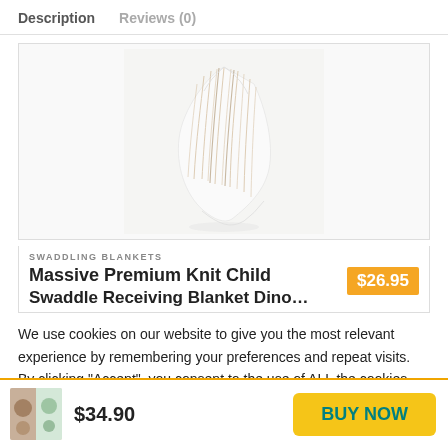Description   Reviews (0)
[Figure (photo): A white swaddling blanket with thin brown/tan stripes, draped and gathered, shown against a white/light background.]
SWADDLING BLANKETS
Massive Premium Knit Child Swaddle Receiving Blanket Dino…
$26.95
We use cookies on our website to give you the most relevant experience by remembering your preferences and repeat visits. By clicking “Accept”, you consent to the use of ALL the cookies.
Do not sell my personal information.
[Figure (photo): Small thumbnail image of swaddling blanket product with floral pattern.]
$34.90
BUY NOW